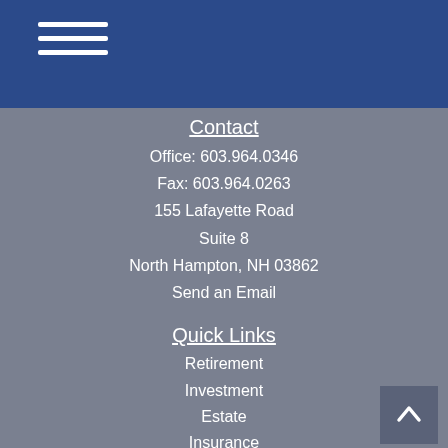[Figure (other): Hamburger menu icon with three horizontal white lines on dark blue background]
Contact
Office: 603.964.0346
Fax: 603.964.0263
155 Lafayette Road
Suite 8
North Hampton, NH 03862
Send an Email
Quick Links
Retirement
Investment
Estate
Insurance
Tax
Money
Lifestyle
All Articles
All Videos
All Calculators